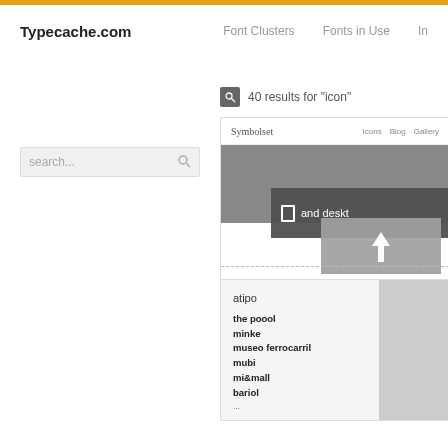Typecache.com | Font Clusters | Fonts in Use | In...
search...
40 results for "icon"
[Figure (screenshot): Screenshot of Symbolset website showing navigation bar with 'Symbolset', 'Icons', 'Blog', 'Gallery' and a dark hero section with mobile phone icon and text 'and deskt', with a popup overlay showing an upload arrow icon]
[Figure (screenshot): Screenshot of atipo font foundry page showing brand name 'atipo' and list of fonts: the poool, minke, museo ferrocarril, mubi, mi&mall, bariol, with a partial figure image on the right]